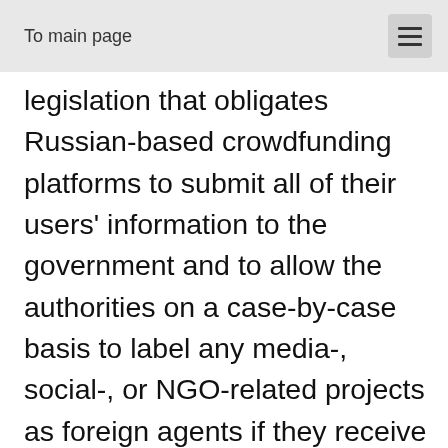To main page
legislation that obligates Russian-based crowdfunding platforms to submit all of their users' information to the government and to allow the authorities on a case-by-case basis to label any media-, social-, or NGO-related projects as foreign agents if they receive donations from abroad. The crowdfunding companies would be mandated to cooperate with the authorities whenever they're asked to do so, and ideally there'd also be a retroactive clause included in the law which would permit the government to request full